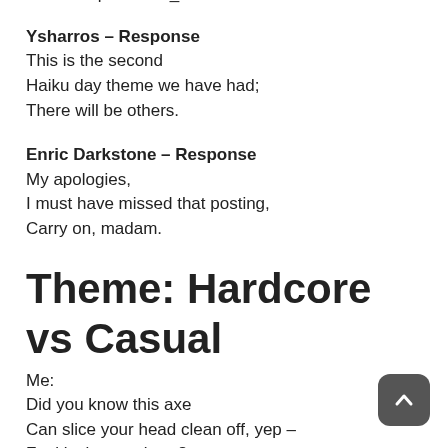Dante inspired...? -_^
Ysharros – Response
This is the second
Haiku day theme we have had;
There will be others.
Enric Darkstone – Response
My apologies,
I must have missed that posting,
Carry on, madam.
Theme: Hardcore vs Casual
Me:
Did you know this axe
Can slice your head clean off, yep –
Feel lucky, carebear?
Makkaio:
I play a healer
Like it was a tank, so what?